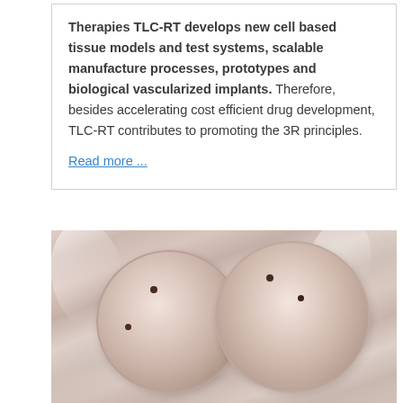Therapies TLC-RT develops new cell based tissue models and test systems, scalable manufacture processes, prototypes and biological vascularized implants. Therefore, besides accelerating cost efficient drug development, TLC-RT contributes to promoting the 3R principles.
Read more ...
[Figure (photo): Close-up photograph of two circular petri dishes or bioreactor chambers viewed from above, showing a pinkish-beige tissue or gel material with small dark spots/holes visible, against a soft blurred background with swirling light reflections.]